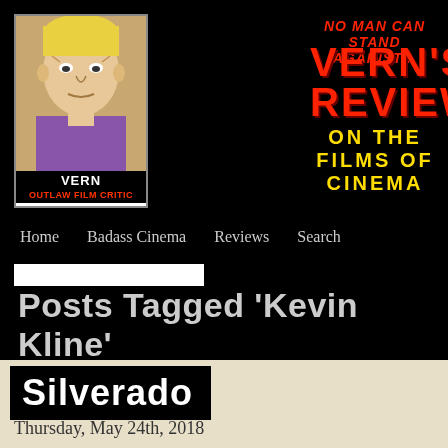NO MAN CAN STAND AGAINST... VERN'S REVIEWS ON THE FILMS OF CINEMA
[Figure (illustration): Comic-style illustration of Vern, a tough-looking blond man. Label reads VERN OUTLAW FILM CRITIC.]
Posts Tagged ‘Kevin Kline’
Silverado
Thursday, May 24th, 2018
[Figure (photo): Movie still from Silverado showing several cowboys in western attire.]
SILVERADO is Lawrence Kasdan’s upbeat 1985 western